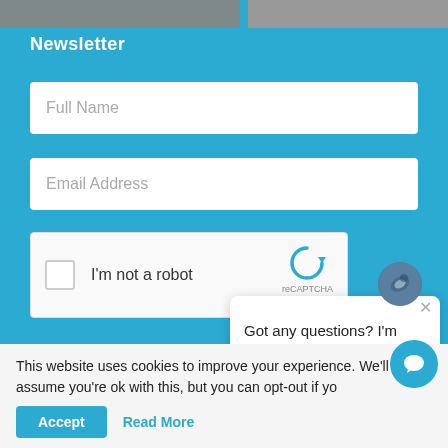[Figure (screenshot): Header area with road/highway images at top]
Newsletter
Full Name
Email Address
[Figure (other): reCAPTCHA widget with checkbox 'I'm not a robot' and reCAPTCHA logo]
[Figure (other): Submit button (orange/coral color)]
Got any questions? I'm happy to help.
This website uses cookies to improve your experience. We'll assume you're ok with this, but you can opt-out if yo
Accept
Read More